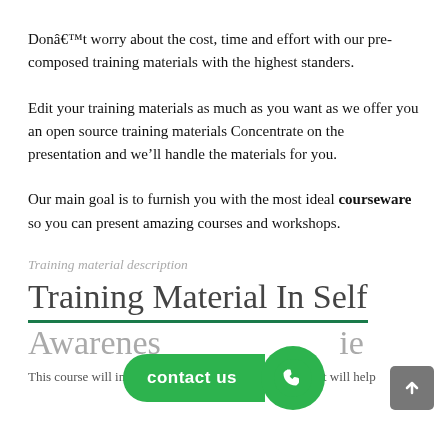Donâ€™t worry about the cost, time and effort with our pre-composed training materials with the highest standers.
Edit your training materials as much as you want as we offer you an open source training materials Concentrate on the presentation and we’ll handle the materials for you.
Our main goal is to furnish you with the most ideal courseware so you can present amazing courses and workshops.
Training material description
Training Material In Self Awareness...ie
This course will introduce you to the necessary skills that will help
[Figure (other): Green 'contact us' button with phone icon circle overlay, and a grey scroll-to-top arrow button in the bottom right corner.]